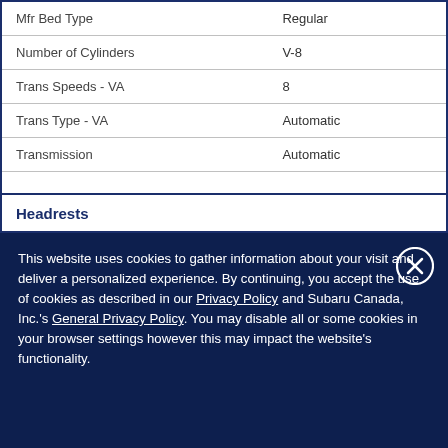| Mfr Bed Type | Regular |
| Number of Cylinders | V-8 |
| Trans Speeds - VA | 8 |
| Trans Type - VA | Automatic |
| Transmission | Automatic |
Headrests
This website uses cookies to gather information about your visit and deliver a personalized experience. By continuing, you accept the use of cookies as described in our Privacy Policy and Subaru Canada, Inc.'s General Privacy Policy. You may disable all or some cookies in your browser settings however this may impact the website's functionality.